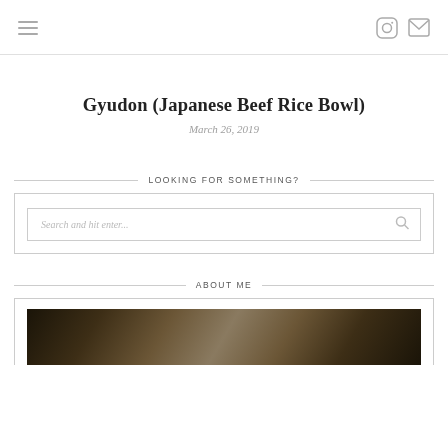Navigation bar with hamburger menu and social icons
Gyudon (Japanese Beef Rice Bowl)
March 26, 2019
LOOKING FOR SOMETHING?
Search and hit enter...
ABOUT ME
[Figure (photo): Photo of stone or dark textured surface for About Me section]